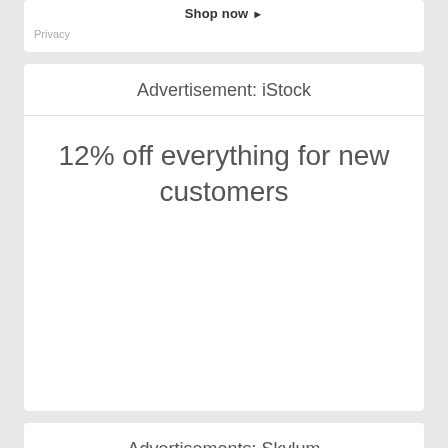Shop now ▶
Privacy
Advertisement: iStock
12% off everything for new customers
Advertisements: Skylum
[Figure (illustration): Aurora HDR 2018 advertisement banner with colorful sky background and logo]